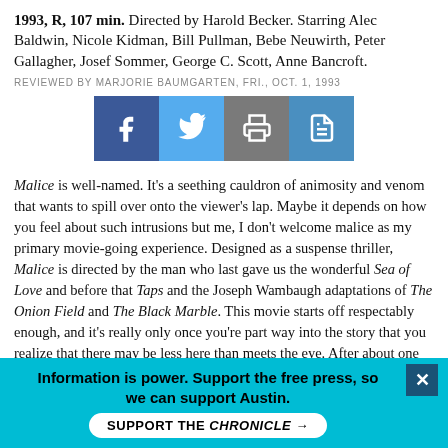1993, R, 107 min. Directed by Harold Becker. Starring Alec Baldwin, Nicole Kidman, Bill Pullman, Bebe Neuwirth, Peter Gallagher, Josef Sommer, George C. Scott, Anne Bancroft.
REVIEWED BY MARJORIE BAUMGARTEN, FRI., OCT. 1, 1993
[Figure (other): Social sharing buttons: Facebook, Twitter, Print, Save]
Malice is well-named. It's a seething cauldron of animosity and venom that wants to spill over onto the viewer's lap. Maybe it depends on how you feel about such intrusions but me, I don't welcome malice as my primary movie-going experience. Designed as a suspense thriller, Malice is directed by the man who last gave us the wonderful Sea of Love and before that Taps and the Joseph Wambaugh adaptations of The Onion Field and The Black Marble. This movie starts off respectably enough, and it's really only once you're part way into the story that you realize that there may be less here than meets the eye. After about one hour in the theatre, I felt as if I had been sitting there for at least three. Then, midway, the
Information is power. Support the free press, so we can support Austin.